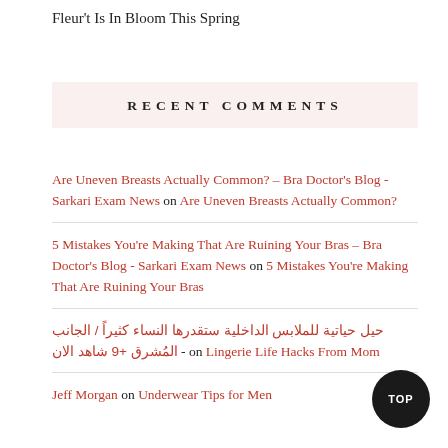Fleur't Is In Bloom This Spring
RECENT COMMENTS
Are Uneven Breasts Actually Common? – Bra Doctor's Blog - Sarkari Exam News on Are Uneven Breasts Actually Common?
5 Mistakes You're Making That Are Ruining Your Bras – Bra Doctor's Blog - Sarkari Exam News on 5 Mistakes You're Making That Are Ruining Your Bras
حيل حياتية للملابس الداخلية ستقدرها النساء كثيراً / الجانب المُشرق +9 شاهد الان - on Lingerie Life Hacks From Mom
Jeff Morgan on Underwear Tips for Men